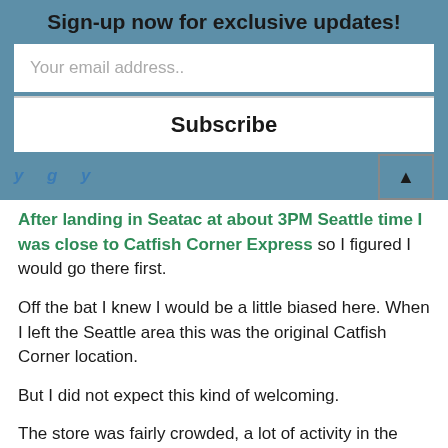Sign-up now for exclusive updates!
Your email address..
Subscribe
After landing in Seatac at about 3PM Seattle time I was close to Catfish Corner Express so I figured I would go there first.
Off the bat I knew I would be a little biased here. When I left the Seattle area this was the original Catfish Corner location.
But I did not expect this kind of welcoming.
The store was fairly crowded, a lot of activity in the parking lot. All good energy.
Inside I was greeted loudly by a man who asked what I needed and